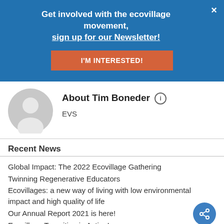Get involved with the ecovillage movement, sign up for our Newsletter!
I'M INTERESTED!
×
About Tim Boneder
EVS
Recent News
Global Impact: The 2022 Ecovillage Gathering
Twinning Regenerative Educators
Ecovillages: a new way of living with low environmental impact and high quality of life
Our Annual Report 2021 is here!
Ecovillage Transition in Action!